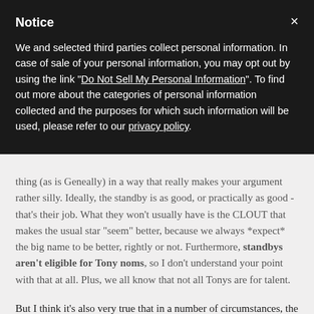Notice
We and selected third parties collect personal information. In case of sale of your personal information, you may opt out by using the link "Do Not Sell My Personal Information". To find out more about the categories of personal information collected and the purposes for which such information will be used, please refer to our privacy policy.
thing (as is Geneally) in a way that really makes your argument rather silly. Ideally, the standby is as good, or practically as good - that's their job. What they won't usually have is the CLOUT that makes the usual star "seem" better, because we always *expect* the big name to be better, rightly or not. Furthermore, standbys aren't eligible for Tony noms, so I don't understand your point with that at all. Plus, we all know that not all Tonys are for talent.
But I think it's also very true that in a number of circumstances, the standby may in fact be BETTER than the cast lead - particularly in cases where the lead is cast on celeb recognition rather than perhaps being a perfect fit